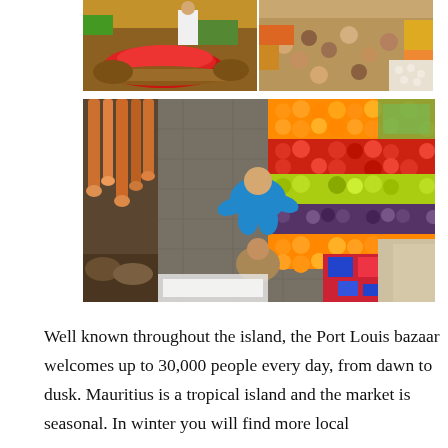[Figure (photo): Top-left market photo showing a vendor with large baskets of red chili peppers and other produce at the Port Louis bazaar.]
[Figure (photo): Top-right market photo showing an aerial/overhead view of a crowded indoor market with shoppers and produce stalls.]
[Figure (photo): Large bottom market photo showing an overhead bird's-eye view of the Port Louis bazaar with a person in blue shirt browsing a colorful display of stacked fruits (oranges, limes, tomatoes, purple grapes) arranged in a patchwork pattern, with hanging onion/garlic strings on the left.]
Well known throughout the island, the Port Louis bazaar welcomes up to 30,000 people every day, from dawn to dusk. Mauritius is a tropical island and the market is seasonal. In winter you will find more local